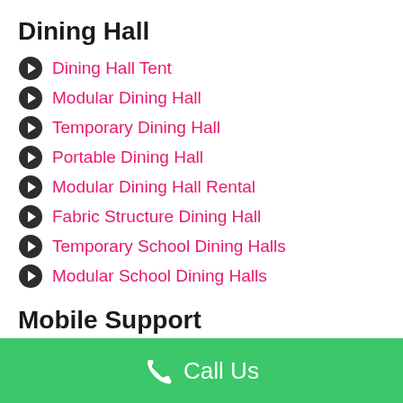Dining Hall
Dining Hall Tent
Modular Dining Hall
Temporary Dining Hall
Portable Dining Hall
Modular Dining Hall Rental
Fabric Structure Dining Hall
Temporary School Dining Halls
Modular School Dining Halls
Mobile Support
Restroom Trailers
Shower Trailer
Mobile Shower Trailer
Call Us